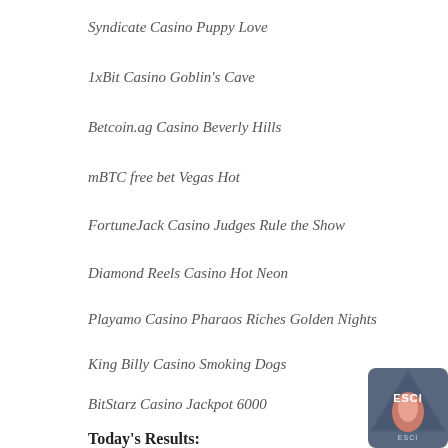Syndicate Casino Puppy Love
1xBit Casino Goblin's Cave
Betcoin.ag Casino Beverly Hills
mBTC free bet Vegas Hot
FortuneJack Casino Judges Rule the Show
Diamond Reels Casino Hot Neon
Playamo Casino Pharaos Riches Golden Nights
King Billy Casino Smoking Dogs
BitStarz Casino Jackpot 6000
Today's Results:
Money Monkey - 204.9 dog
Arctic Fortune - 531.5 eth
[Figure (logo): ESCI logo - dark blue/grey circular badge with flame icon and text ESCI]